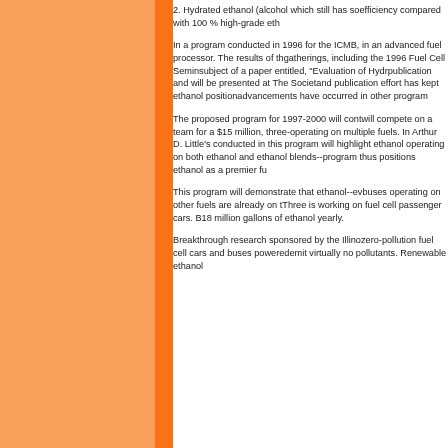2. Hydrated ethanol  (alcohol which still has so... efficiency compared with 100 % high-grade eth...
In a program conducted in 1996 for the ICMB, ... in an advanced fuel processor. The results of th... gatherings, including the 1996 Fuel Cell Semin... subject of a paper entitled, "Evaluation of Hydr... publication and will be presented at The Societ... and publication effort has kept ethanol position... advancements have occurred in other program...
The proposed program for 1997-2000 will cont... will compete on a team for a $15 million, three-... operating on multiple fuels. In Arthur D. Little's ... conducted in this program will highlight ethano... operating on both ethanol and ethanol blends--... program thus positions ethanol as a premier fu...
This program will demonstrate that ethanol--ev... buses operating on other fuels are already on t... Three is working on fuel cell passenger cars. B... 18 million gallons of ethanol yearly.
Breakthrough research sponsored by the Illino... zero-pollution fuel cell cars and buses powered... emit virtually no pollutants. Renewable ethanol...